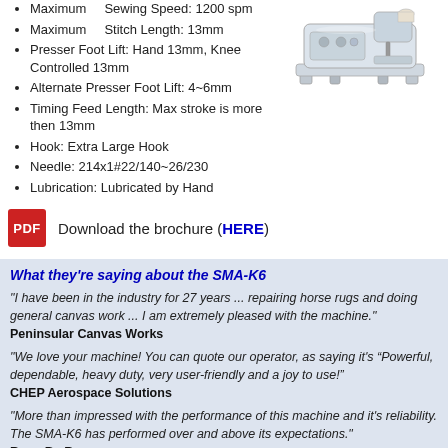Maximum Sewing Speed: 1200 spm
Maximum Stitch Length: 13mm
Presser Foot Lift: Hand 13mm, Knee Controlled 13mm
Alternate Presser Foot Lift: 4~6mm
Timing Feed Length: Max stroke is more then 13mm
Hook: Extra Large Hook
Needle: 214x1#22/140~26/230
Lubrication: Lubricated by Hand
[Figure (photo): Industrial sewing machine SMA-K6 illustration, silver/grey colored]
Download the brochure (HERE)
What they're saying about the SMA-K6
"I have been in the industry for 27 years ... repairing horse rugs and doing general canvas work ... I am extremely pleased with the machine."
Peninsular Canvas Works
"We love your machine! You can quote our operator, as saying it's “Powerful, dependable, heavy duty, very user-friendly and a joy to use!”
CHEP Aerospace Solutions
"More than impressed with the performance of this machine and it's reliability. The SMA-K6 has performed over and above its expectations."
Rugs By Reg